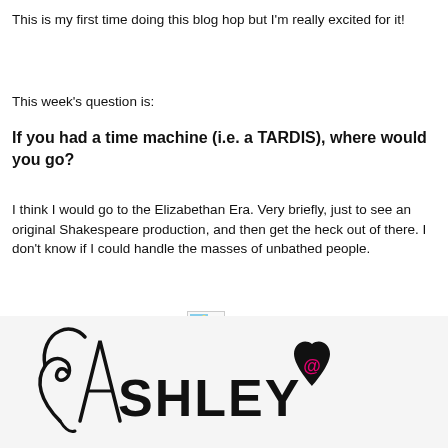This is my first time doing this blog hop but I'm really excited for it!
This week's question is:
If you had a time machine (i.e. a TARDIS), where would you go?
I think I would go to the Elizabethan Era. Very briefly, just to see an original Shakespeare production, and then get the heck out of there. I don't know if I could handle the masses of unbathed people.
[Figure (illustration): Broken image placeholder icon showing a small landscape thumbnail with blue sky and green ground]
[Figure (illustration): Decorative cursive signature reading 'Ashley' with a heart containing an @ symbol, in black and pink, partial view at bottom of page]